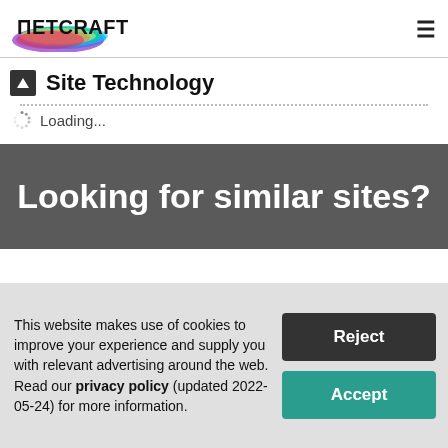Netcraft
Site Technology
Loading...
Looking for similar sites?
This website makes use of cookies to improve your experience and supply you with relevant advertising around the web. Read our privacy policy (updated 2022-05-24) for more information.